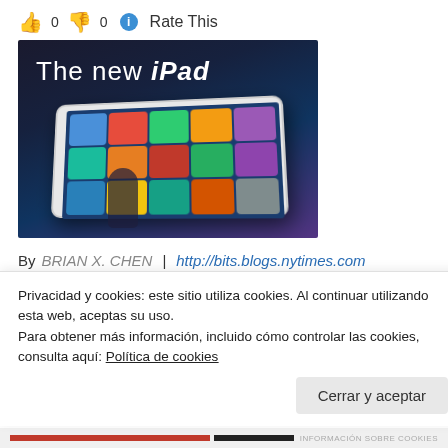👍 0 👎 0 ℹ Rate This
[Figure (photo): Promotional image showing 'The new iPad' text on dark background with a white iPad device displaying app icons, and a person silhouette in the foreground]
By BRIAN X. CHEN | http://bits.blogs.nytimes.com
Apps, games and e-books may look great on the new iPad's high
Privacidad y cookies: este sitio utiliza cookies. Al continuar utilizando esta web, aceptas su uso.
Para obtener más información, incluido cómo controlar las cookies, consulta aquí: Política de cookies
Cerrar y aceptar